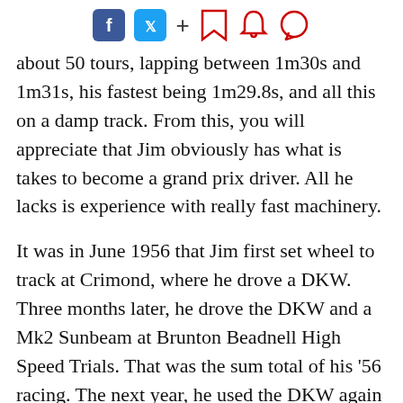Social sharing icons: Facebook, Twitter, +, bookmark, notification, comment
about 50 tours, lapping between 1m30s and 1m31s, his fastest being 1m29.8s, and all this on a damp track. From this, you will appreciate that Jim obviously has what is takes to become a grand prix driver. All he lacks is experience with really fast machinery.
It was in June 1956 that Jim first set wheel to track at Crimond, where he drove a DKW. Three months later, he drove the DKW and a Mk2 Sunbeam at Brunton Beadnell High Speed Trials. That was the sum total of his '56 racing. The next year, he used the DKW again at Charterhall in June, and then in the October meeting he won three races in one day, this time in a Porsche. He also did a few rallies and sprints in the DKW and the Sun...